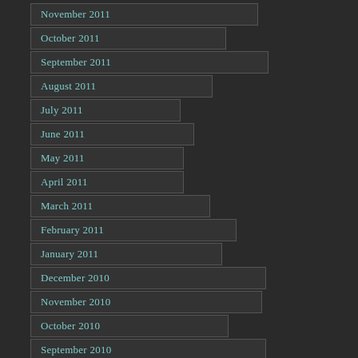November 2011
October 2011
September 2011
August 2011
July 2011
June 2011
May 2011
April 2011
March 2011
February 2011
January 2011
December 2010
November 2010
October 2010
September 2010